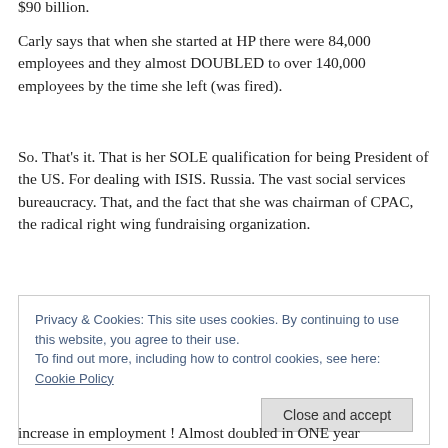$90 billion.
Carly says that when she started at HP there were 84,000 employees and they almost DOUBLED to over 140,000 employees by the time she left (was fired).
So. That's it. That is her SOLE qualification for being President of the US. For dealing with ISIS. Russia. The vast social services bureaucracy. That, and the fact that she was chairman of CPAC, the radical right wing fundraising organization.
Privacy & Cookies: This site uses cookies. By continuing to use this website, you agree to their use.
To find out more, including how to control cookies, see here: Cookie Policy
Close and accept
increase in employment ! Almost doubled in ONE year